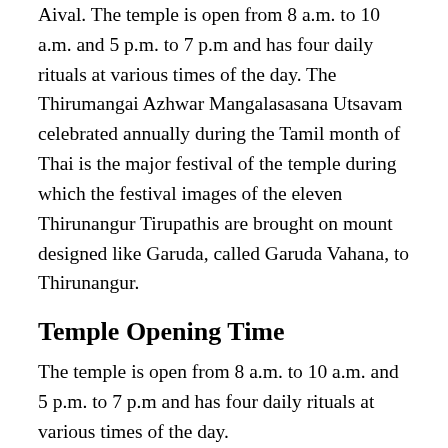Aival. The temple is open from 8 a.m. to 10 a.m. and 5 p.m. to 7 p.m and has four daily rituals at various times of the day. The Thirumangai Azhwar Mangalasasana Utsavam celebrated annually during the Tamil month of Thai is the major festival of the temple during which the festival images of the eleven Thirunangur Tirupathis are brought on mount designed like Garuda, called Garuda Vahana, to Thirunangur.
Temple Opening Time
The temple is open from 8 a.m. to 10 a.m. and 5 p.m. to 7 p.m and has four daily rituals at various times of the day.
Prayers
Devotees celebrate their 60, 70 and 80th birth days in